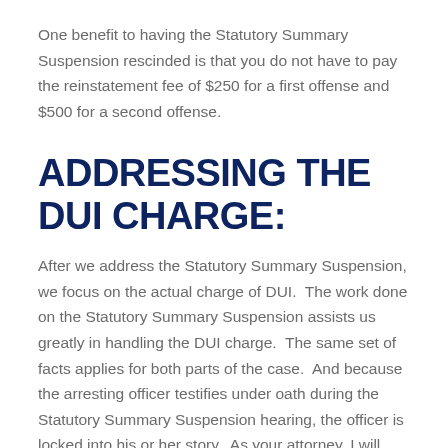One benefit to having the Statutory Summary Suspension rescinded is that you do not have to pay the reinstatement fee of $250 for a first offense and $500 for a second offense.
ADDRESSING THE DUI CHARGE:
After we address the Statutory Summary Suspension, we focus on the actual charge of DUI.  The work done on the Statutory Summary Suspension assists us greatly in handling the DUI charge.  The same set of facts applies for both parts of the case.  And because the arresting officer testifies under oath during the Statutory Summary Suspension hearing, the officer is locked into his or her story.  As your attorney, I will order the transcript of the officer's testimony.  There is a real benefit to having the police officer's testimony locked in, the